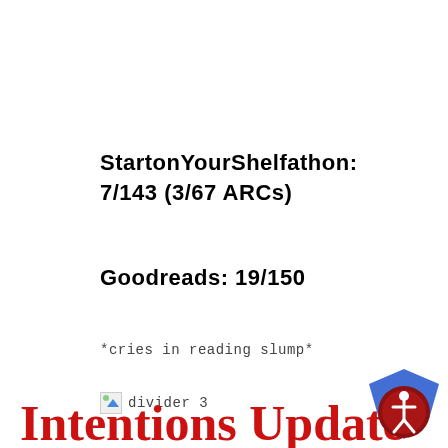StartonYourShelfathon: 7/143 (3/67 ARCs)
Goodreads: 19/150
*cries in reading slump*
[Figure (illustration): Broken image icon labeled 'divider 3']
Intentions Update